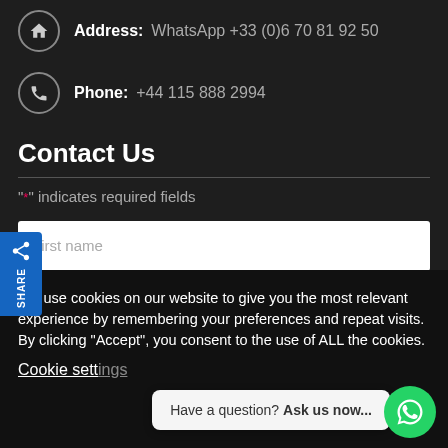Address: WhatsApp +33 (0)6 70 81 92 50
Phone: +44 115 888 2994
Contact Us
"*" indicates required fields
First name
We use cookies on our website to give you the most relevant experience by remembering your preferences and repeat visits. By clicking “Accept”, you consent to the use of ALL the cookies.
Cookie settings
Have a question? Ask us now...